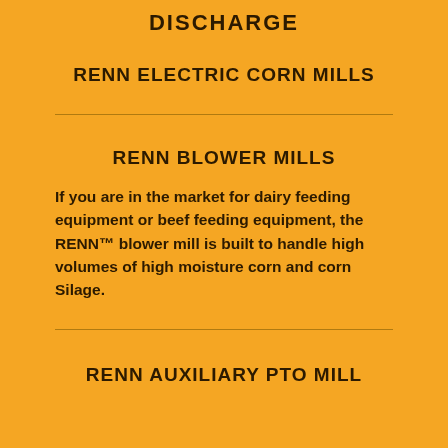DISCHARGE
RENN ELECTRIC CORN MILLS
RENN BLOWER MILLS
If you are in the market for dairy feeding equipment or beef feeding equipment, the RENN™ blower mill is built to handle high volumes of high moisture corn and corn Silage.
RENN AUXILIARY PTO MILL